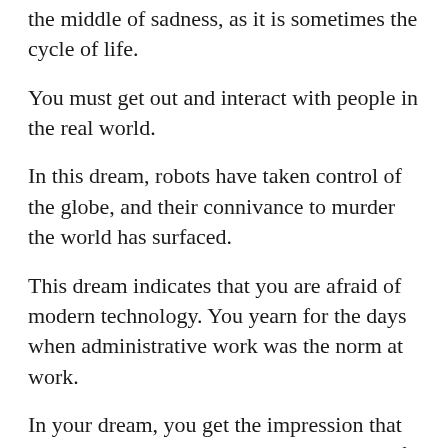the middle of sadness, as it is sometimes the cycle of life.
You must get out and interact with people in the real world.
In this dream, robots have taken control of the globe, and their connivance to murder the world has surfaced.
This dream indicates that you are afraid of modern technology. You yearn for the days when administrative work was the norm at work.
In your dream, you get the impression that mindless machines have robbed humans of their workplace culture. This dream suggests that you should be more